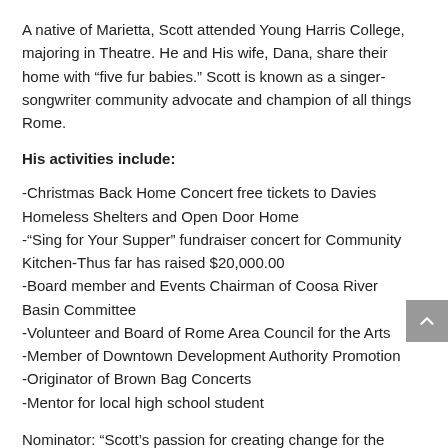A native of Marietta, Scott attended Young Harris College, majoring in Theatre. He and His wife, Dana, share their home with “five fur babies.” Scott is known as a singer-songwriter community advocate and champion of all things Rome.
His activities include:
-Christmas Back Home Concert free tickets to Davies Homeless Shelters and Open Door Home
-“Sing for Your Supper” fundraiser concert for Community Kitchen-Thus far has raised $20,000.00
-Board member and Events Chairman of Coosa River Basin Committee
-Volunteer and Board of Rome Area Council for the Arts
-Member of Downtown Development Authority Promotion
-Originator of Brown Bag Concerts
-Mentor for local high school student
Nominator: “Scott’s passion for creating change for the better and changing the status quo has brought vibrancy to downtown Rome.  His passion for